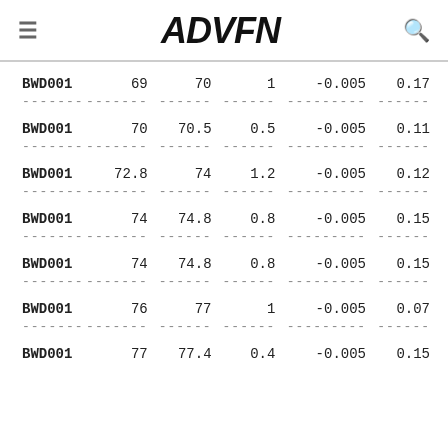ADVFN
| Symbol | Col1 | Col2 | Col3 | Col4 | Col5 |
| --- | --- | --- | --- | --- | --- |
| BWD001 | 69 | 70 | 1 | -0.005 | 0.17 |
| BWD001 | 70 | 70.5 | 0.5 | -0.005 | 0.11 |
| BWD001 | 72.8 | 74 | 1.2 | -0.005 | 0.12 |
| BWD001 | 74 | 74.8 | 0.8 | -0.005 | 0.15 |
| BWD001 | 74 | 74.8 | 0.8 | -0.005 | 0.15 |
| BWD001 | 76 | 77 | 1 | -0.005 | 0.07 |
| BWD001 | 77 | 77.4 | 0.4 | -0.005 | 0.15 |